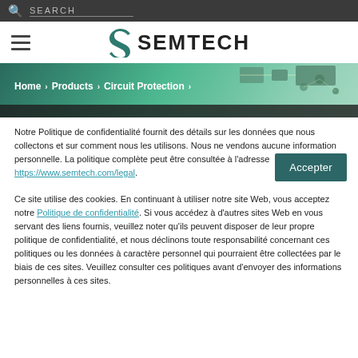SEARCH
[Figure (logo): Semtech logo with stylized S icon and SEMTECH wordmark]
[Figure (photo): Circuit board background with breadcrumb navigation: Home > Products > Circuit Protection >]
Notre Politique de confidentialité fournit des détails sur les données que nous collectons et sur comment nous les utilisons. Nous ne vendons aucune information personnelle. La politique complète peut être consultée à l'adresse https://www.semtech.com/legal.
Ce site utilise des cookies. En continuant à utiliser notre site Web, vous acceptez notre Politique de confidentialité. Si vous accédez à d'autres sites Web en vous servant des liens fournis, veuillez noter qu'ils peuvent disposer de leur propre politique de confidentialité, et nous déclinons toute responsabilité concernant ces politiques ou les données à caractère personnel qui pourraient être collectées par le biais de ces sites. Veuillez consulter ces politiques avant d'envoyer des informations personnelles à ces sites.